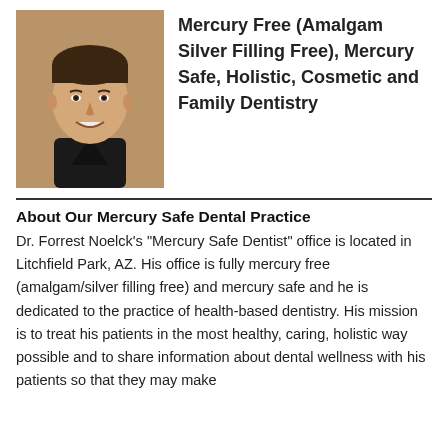[Figure (photo): Headshot photo of Dr. Forrest Noelck, a man in a black top, smiling, against a warm brown background.]
Mercury Free (Amalgam Silver Filling Free), Mercury Safe, Holistic, Cosmetic and Family Dentistry
About Our Mercury Safe Dental Practice
Dr. Forrest Noelck's "Mercury Safe Dentist" office is located in Litchfield Park, AZ. His office is fully mercury free (amalgam/silver filling free) and mercury safe and he is dedicated to the practice of health-based dentistry. His mission is to treat his patients in the most healthy, caring, holistic way possible and to share information about dental wellness with his patients so that they may make